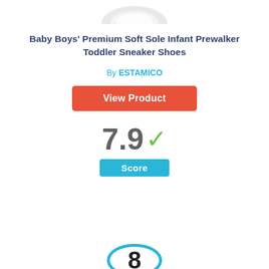[Figure (photo): Partial view of a baby sneaker shoe at top of card]
Baby Boys' Premium Soft Sole Infant Prewalker Toddler Sneaker Shoes
By ESTAMICO
View Product
7.9 ✓
Score
8